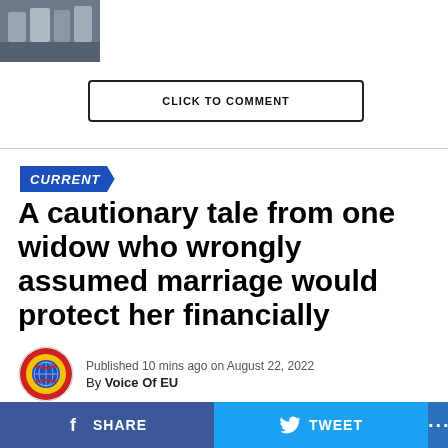[Figure (photo): Small thumbnail photo of a group of people at the top left]
CLICK TO COMMENT
CURRENT
A cautionary tale from one widow who wrongly assumed marriage would protect her financially
[Figure (logo): Voice Of EU circular logo with globe, yellow, red, blue rings]
Published 10 mins ago on August 22, 2022
By Voice Of EU
As Alex Delaney gazed up at her new husband on her
SHARE   TWEET   ...